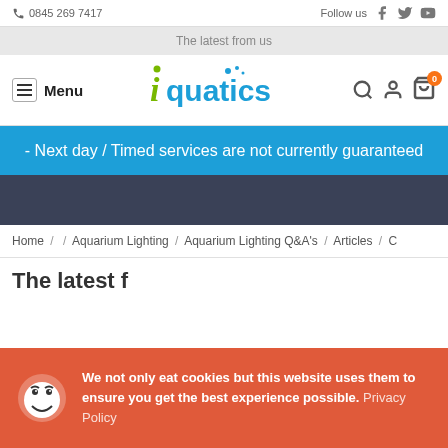0845 269 7417 | Follow us
The latest from us
iQuatics - Menu
- Next day / Timed services are not currently guaranteed
Home / / Aquarium Lighting / Aquarium Lighting Q&A's / Articles / C
The latest f...
We not only eat cookies but this website uses them to ensure you get the best experience possible. Privacy Policy